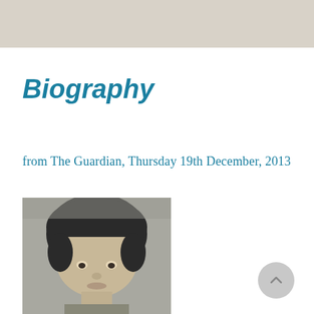Biography
from The Guardian, Thursday 19th December, 2013
[Figure (photo): Black and white photograph of a young boy with a bowl haircut, looking forward with a serious expression]